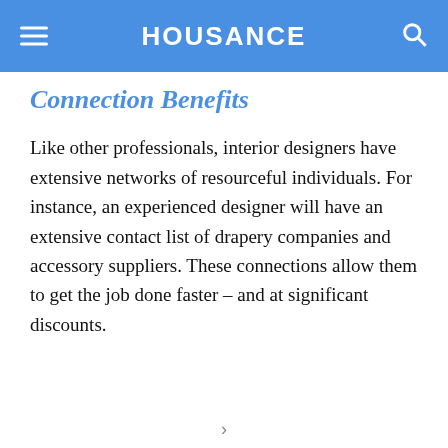HOUSANCE
Connection Benefits
Like other professionals, interior designers have extensive networks of resourceful individuals. For instance, an experienced designer will have an extensive contact list of drapery companies and accessory suppliers. These connections allow them to get the job done faster – and at significant discounts.